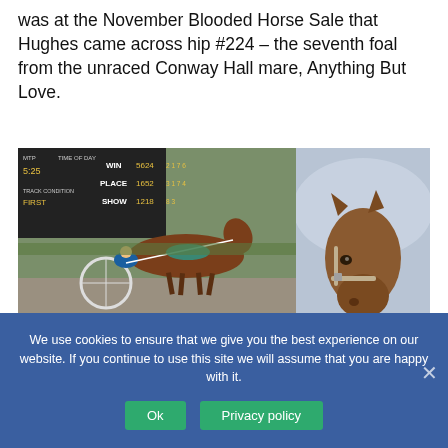was at the November Blooded Horse Sale that Hughes came across hip #224 – the seventh foal from the unraced Conway Hall mare, Anything But Love.
[Figure (photo): Two-part image: left shows a harness racing horse pulling a sulky on a track with a scoreboard in the background showing WIN 5624, PLACE 1652, SHOW 1218, time 5:25, track condition FIRST; right shows a close-up portrait of a brown horse's head.]
We use cookies to ensure that we give you the best experience on our website. If you continue to use this site we will assume that you are happy with it.